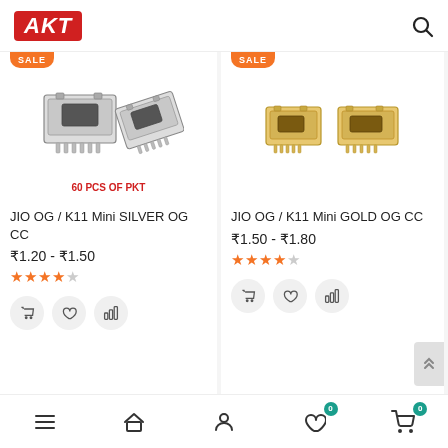AKT
[Figure (photo): Two micro USB charging connectors (silver), one upright and one angled, with text '60 PCS OF PKT' in red below]
JIO OG / K11 Mini SILVER OG CC
₹1.20 - ₹1.50
★★★★☆
[Figure (photo): Two micro USB charging connectors (gold), side by side]
JIO OG / K11 Mini GOLD OG CC
₹1.50 - ₹1.80
★★★★☆
Menu  Home  Account  Wishlist 0  Cart 0